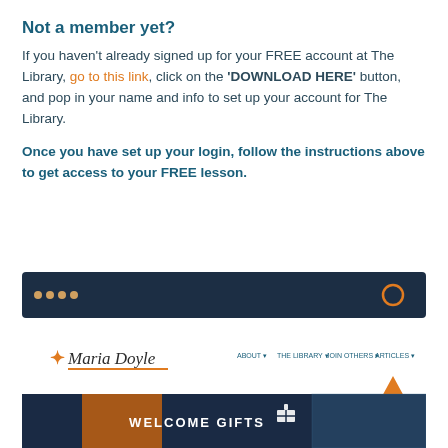Not a member yet?
If you haven't already signed up for your FREE account at The Library, go to this link, click on the 'DOWNLOAD HERE' button, and pop in your name and info to set up your account for The Library.
Once you have set up your login, follow the instructions above to get access to your FREE lesson.
[Figure (screenshot): Screenshot of Maria Doyle website showing navigation bar with an orange circle highlighting the login/account area, an upward-pointing orange arrow, and a Welcome Gifts banner at the bottom.]